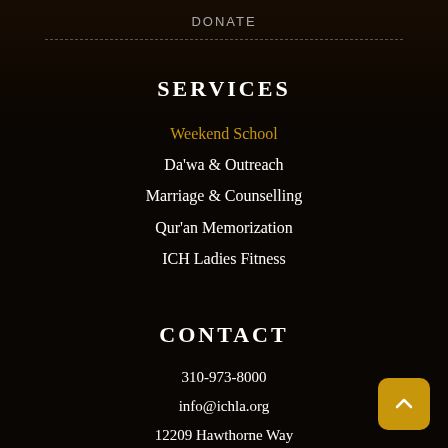DONATE
SERVICES
Weekend School
Da'wa & Outreach
Marriage & Counselling
Qur'an Memorization
ICH Ladies Fitness
CONTACT
310-973-8000
info@ichla.org
12209 Hawthorne Way
Hawthorne, CA 90250